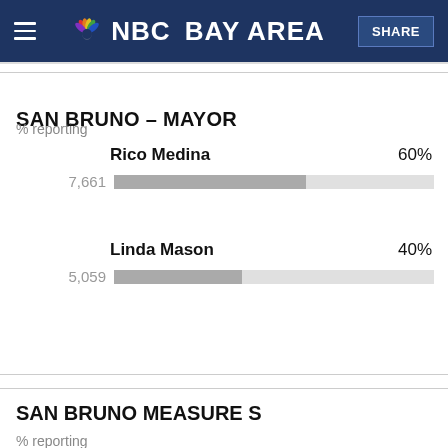NBC Bay Area - SHARE
SAN BRUNO – MAYOR
% reporting
[Figure (bar-chart): SAN BRUNO – MAYOR]
SAN BRUNO MEASURE S
% reporting